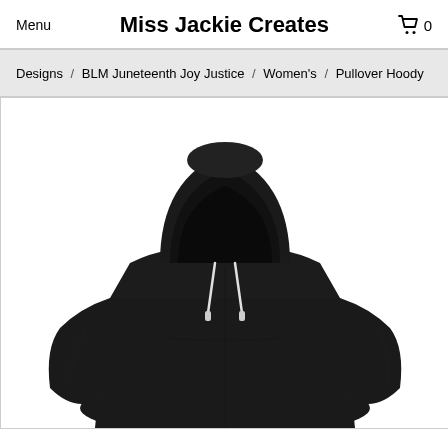Menu   Miss Jackie Creates   0
Designs / BLM Juneteenth Joy Justice / Women's / Pullover Hoody
[Figure (photo): Black pullover hoodie sweatshirt with hood up and white drawstrings visible, displayed flat against white background]